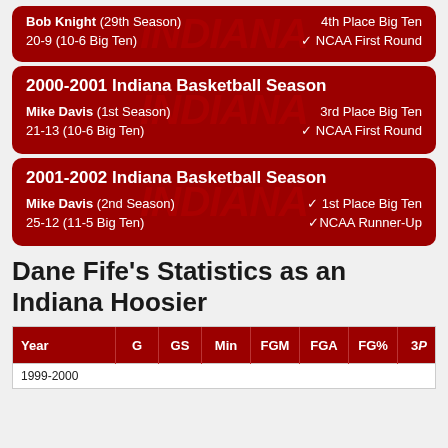Bob Knight (29th Season) | 4th Place Big Ten | 20-9 (10-6 Big Ten) | ✓ NCAA First Round
2000-2001 Indiana Basketball Season
Mike Davis (1st Season) | 3rd Place Big Ten | 21-13 (10-6 Big Ten) | ✓ NCAA First Round
2001-2002 Indiana Basketball Season
Mike Davis (2nd Season) | ✓ 1st Place Big Ten | 25-12 (11-5 Big Ten) | ✓NCAA Runner-Up
Dane Fife's Statistics as an Indiana Hoosier
| Year | G | GS | Min | FGM | FGA | FG% | 3P |  |
| --- | --- | --- | --- | --- | --- | --- | --- | --- |
| 1999-2000 |  |  |  |  |  |  |  |  |